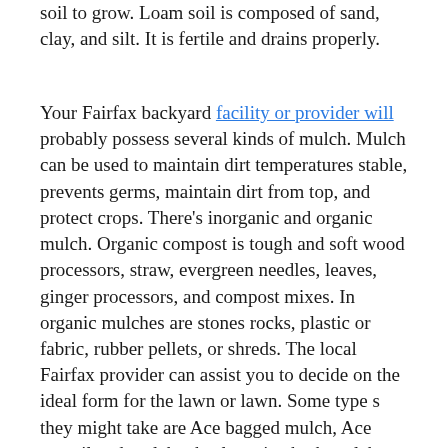soil to grow. Loam soil is composed of sand, clay, and silt. It is fertile and drains properly.
Your Fairfax backyard facility or provider will probably possess several kinds of mulch. Mulch can be used to maintain dirt temperatures stable, prevents germs, maintain dirt from top, and protect crops. There's inorganic and organic mulch. Organic compost is tough and soft wood processors, straw, evergreen needles, leaves, ginger processors, and compost mixes. In organic mulches are stones rocks, plastic or fabric, rubber pellets, or shreds. The local Fairfax provider can assist you to decide on the ideal form for the lawn or lawn. Some type s they might take are Ace bagged mulch, Ace topsoil and mulch, obsolete pine bark mulch, agway rubber mulch, and also special gardening providers such as bark dust blowing.